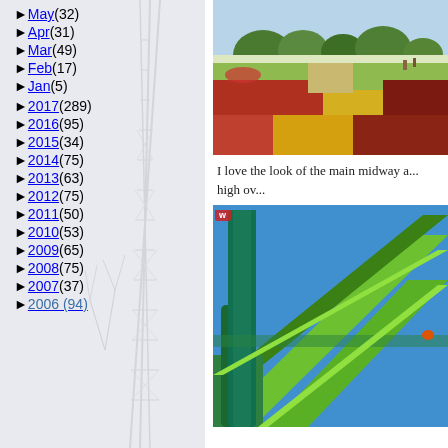May (32)
Apr (31)
Mar (49)
Feb (17)
Jan (5)
2017 (289)
2016 (95)
2015 (34)
2014 (75)
2013 (63)
2012 (75)
2011 (50)
2010 (53)
2009 (65)
2008 (75)
2007 (37)
2006 (94)
[Figure (photo): Colorful flower garden with red, yellow, and green plantings along a midway path with trees and structures visible in the background]
I love the look of the main midway a... high ov...
[Figure (photo): Close-up of bright green roller coaster track structure against a blue sky, showing the steep incline and support columns]